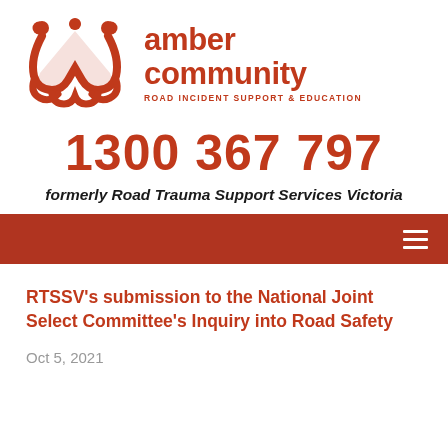[Figure (logo): Amber Community logo: stylized orange figures forming a triangular shape, with text 'amber community' and 'ROAD INCIDENT SUPPORT & EDUCATION']
1300 367 797
formerly Road Trauma Support Services Victoria
RTSSV's submission to the National Joint Select Committee's Inquiry into Road Safety
Oct 5, 2021